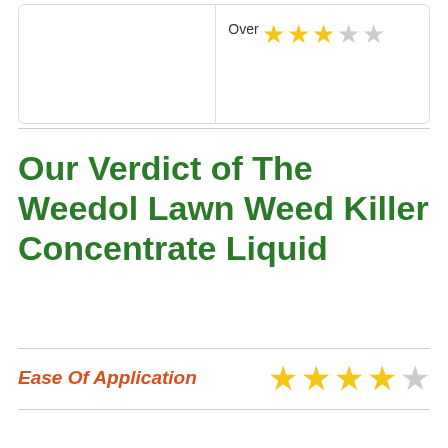[Figure (other): Top section with two columns separated by a vertical line — left column is blank white, right column shows 'Overall' label with 3 out of 5 stars rating (3 gold stars, 2 empty stars)]
Our Verdict of The Weedol Lawn Weed Killer Concentrate Liquid
Ease Of Application  ★★★★☆ (4 out of 5 stars)